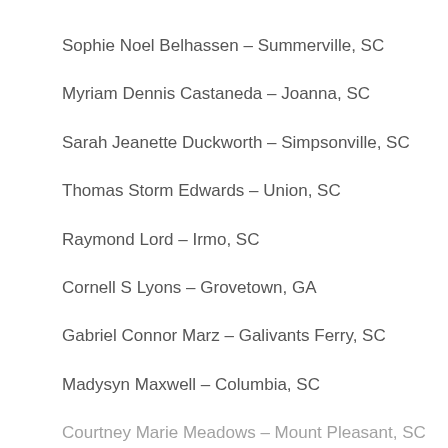Sophie Noel Belhassen – Summerville, SC
Myriam Dennis Castaneda – Joanna, SC
Sarah Jeanette Duckworth – Simpsonville, SC
Thomas Storm Edwards – Union, SC
Raymond Lord – Irmo, SC
Cornell S Lyons – Grovetown, GA
Gabriel Connor Marz – Galivants Ferry, SC
Madysyn Maxwell – Columbia, SC
Courtney Marie Meadows – Mount Pleasant, SC